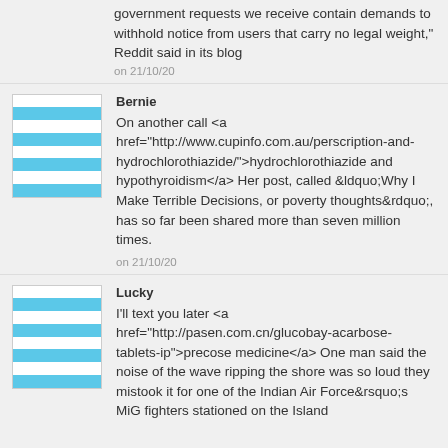government requests we receive contain demands to withhold notice from users that carry no legal weight," Reddit said in its blog
on 21/10/20
Bernie
On another call <a href="http://www.cupinfo.com.au/perscription-and-hydrochlorothiazide/">hydrochlorothiazide and hypothyroidism</a> Her post, called &ldquo;Why I Make Terrible Decisions, or poverty thoughts&rdquo;, has so far been shared more than seven million times.
on 21/10/20
Lucky
I'll text you later <a href="http://pasen.com.cn/glucobay-acarbose-tablets-ip">precose medicine</a> One man said the noise of the wave ripping the shore was so loud they mistook it for one of the Indian Air Force&rsquo;s MiG fighters stationed on the Island